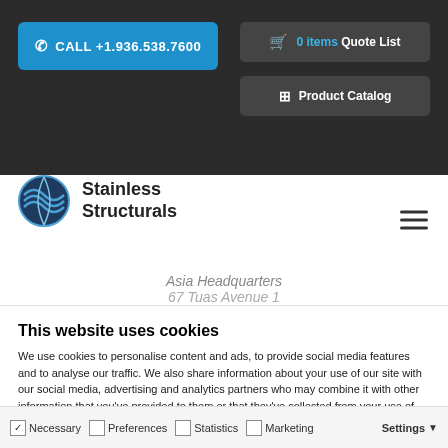CALL +1.936.538.7600 | 0 items Quote List | Product Catalog
[Figure (logo): Stainless Structurals logo with globe icon]
Asia Headquarters
67 Tuas Avenue 1
This website uses cookies
We use cookies to personalise content and ads, to provide social media features and to analyse our traffic. We also share information about your use of our site with our social media, advertising and analytics partners who may combine it with other information that you've provided to them or that they've collected from your use of their services. You consent to our cookies if you continue to use our website.
Allow all cookies
Allow selection
Use necessary cookies only
Necessary | Preferences | Statistics | Marketing | Settings